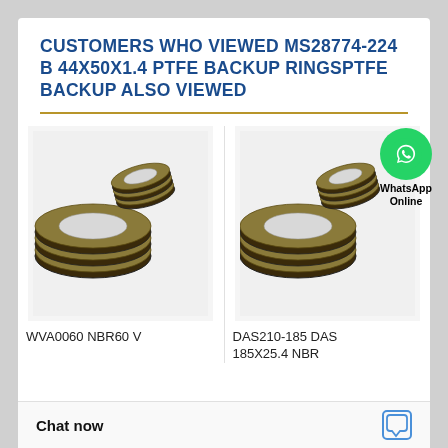CUSTOMERS WHO VIEWED MS28774-224 B 44X50X1.4 PTFE BACKUP RINGSPTFE BACKUP ALSO VIEWED
[Figure (photo): Two stacked PTFE/NBR backup rings (seal rings with alternating tan and black layers) shown side by side. Left product labeled WVA0060 NBR60 V. Right product labeled DAS210-185 DAS 185X25.4 NBR. A WhatsApp Online badge overlays the right image.]
WVA0060 NBR60 V
DAS210-185 DAS 185X25.4 NBR
Chat now